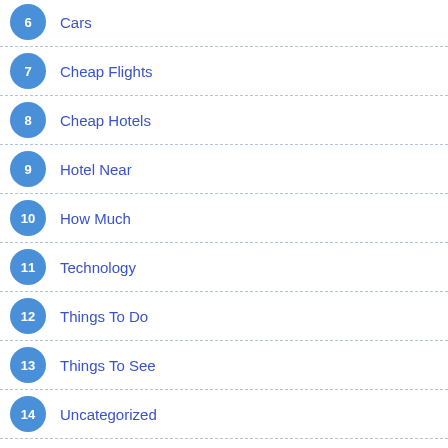6 Cars
7 Cheap Flights
8 Cheap Hotels
9 Hotel Near
10 How Much
11 Technology
12 Things To Do
13 Things To See
14 Uncategorized